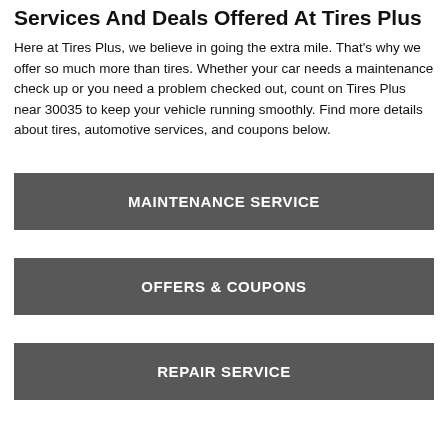Services And Deals Offered At Tires Plus
Here at Tires Plus, we believe in going the extra mile. That's why we offer so much more than tires. Whether your car needs a maintenance check up or you need a problem checked out, count on Tires Plus near 30035 to keep your vehicle running smoothly. Find more details about tires, automotive services, and coupons below.
MAINTENANCE SERVICE
OFFERS & COUPONS
REPAIR SERVICE